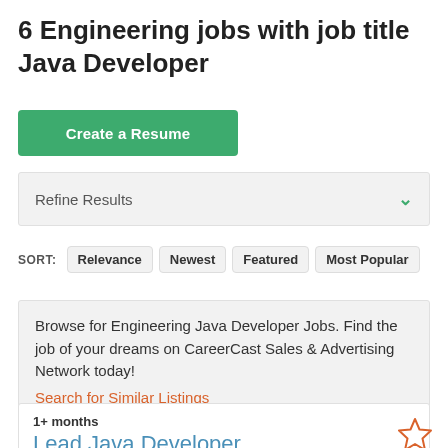6 Engineering jobs with job title Java Developer
Create a Resume
Refine Results
SORT: Relevance Newest Featured Most Popular
Browse for Engineering Java Developer Jobs. Find the job of your dreams on CareerCast Sales & Advertising Network today!
Search for Similar Listings
1+ months
Lead Java Developer
ADP